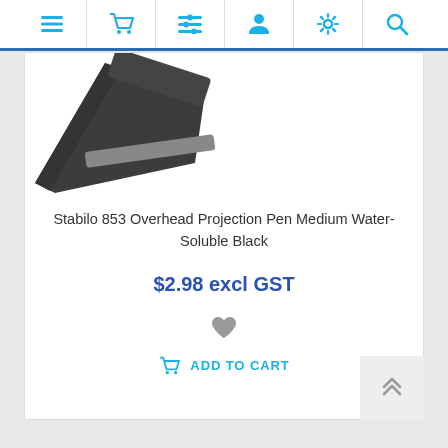[Figure (screenshot): E-commerce website navigation bar with icons: hamburger menu, shopping cart, filter list, user profile, settings gear, and search magnifier — all in cyan/blue color]
[Figure (photo): Partial product image showing corner of a black Stabilo overhead projection pen on white background]
Stabilo 853 Overhead Projection Pen Medium Water-Soluble Black
$2.98 excl GST
[Figure (other): Heart/wishlist icon in grey]
ADD TO CART